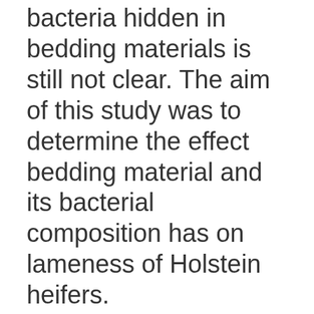specific composition of bacteria hidden in bedding materials is still not clear. The aim of this study was to determine the effect bedding material and its bacterial composition has on lameness of Holstein heifers.
Methods
Forty-eight Holstein heifers with similar body weights were randomly assigned into three